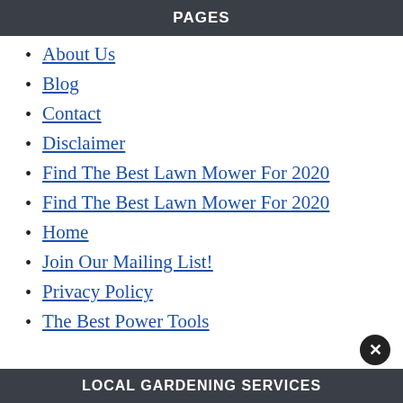PAGES
About Us
Blog
Contact
Disclaimer
Find The Best Lawn Mower For 2020
Find The Best Lawn Mower For 2020
Home
Join Our Mailing List!
Privacy Policy
The Best Power Tools
LOCAL GARDENING SERVICES